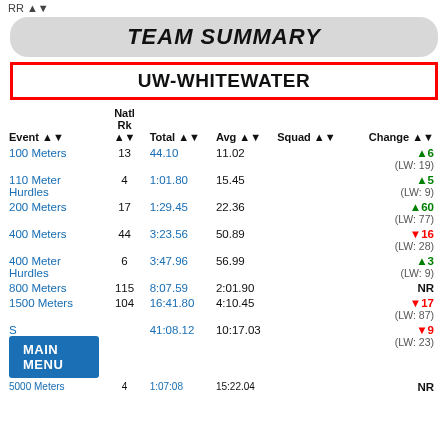RR ▲▼
TEAM SUMMARY
UW-WHITEWATER
| Event ▲▼ | Natl Rk ▲▼ | Total ▲▼ | Avg ▲▼ | Squad ▲▼ | Change ▲▼ |
| --- | --- | --- | --- | --- | --- |
| 100 Meters | 13 | 44.10 | 11.02 |  | ▲6 (LW: 19) |
| 110 Meter Hurdles | 4 | 1:01.80 | 15.45 |  | ▲5 (LW: 9) |
| 200 Meters | 17 | 1:29.45 | 22.36 |  | ▲60 (LW: 77) |
| 400 Meters | 44 | 3:23.56 | 50.89 |  | ▼16 (LW: 28) |
| 400 Meter Hurdles | 6 | 3:47.96 | 56.99 |  | ▲3 (LW: 9) |
| 800 Meters | 115 | 8:07.59 | 2:01.90 |  | NR |
| 1500 Meters | 104 | 16:41.80 | 4:10.45 |  | ▼17 (LW: 87) |
| S |  | 41:08.12 | 10:17.03 |  | ▼9 (LW: 23) |
| 5000 Meters | 4 | 1:07:08 | 15:22.04 |  | NR |